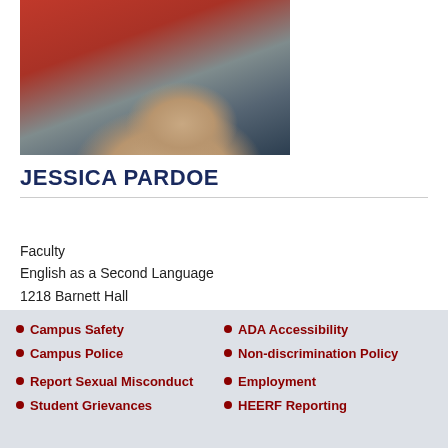[Figure (photo): Profile photo of Jessica Pardoe, showing a person with long brown/blonde hair wearing a red jacket, photographed indoors]
JESSICA PARDOE
Faculty
English as a Second Language
1218 Barnett Hall
Santa Rosa Campus
jpardoe@santarosa.edu
Campus Safety
Campus Police
Report Sexual Misconduct
Student Grievances
ADA Accessibility
Non-discrimination Policy
Employment
HEERF Reporting